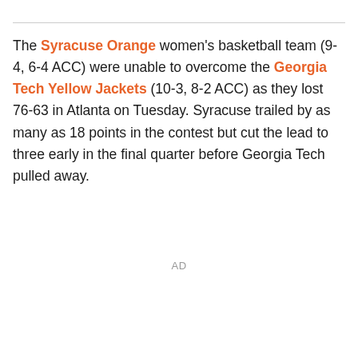The Syracuse Orange women's basketball team (9-4, 6-4 ACC) were unable to overcome the Georgia Tech Yellow Jackets (10-3, 8-2 ACC) as they lost 76-63 in Atlanta on Tuesday. Syracuse trailed by as many as 18 points in the contest but cut the lead to three early in the final quarter before Georgia Tech pulled away.
AD